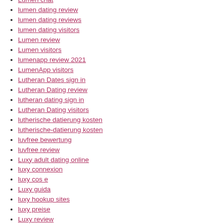Lumen chat
lumen dating review
lumen dating reviews
lumen dating visitors
Lumen review
Lumen visitors
lumenapp review 2021
LumenApp visitors
Lutheran Dates sign in
Lutheran Dating review
lutheran dating sign in
Lutheran Dating visitors
lutherische datierung kosten
lutherische-datierung kosten
luvfree bewertung
luvfree review
Luxy adult dating online
luxy connexion
luxy cos e
Luxy guida
luxy hookup sites
luxy preise
Luxy review
macedonian-chat-room review
macon escort